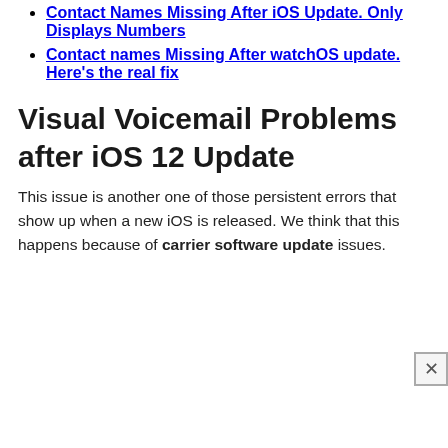Contact Names Missing After iOS Update. Only Displays Numbers
Contact names Missing After watchOS update. Here's the real fix
Visual Voicemail Problems after iOS 12 Update
This issue is another one of those persistent errors that show up when a new iOS is released. We think that this happens because of carrier software update issues.